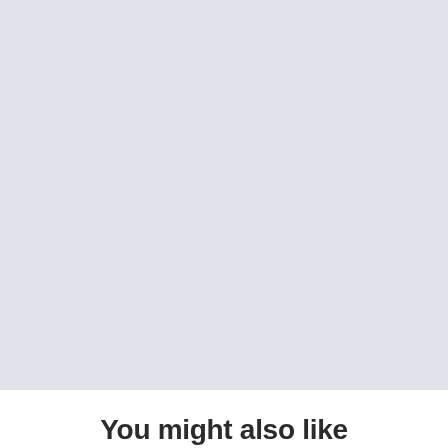[Figure (other): Large light gray/lavender placeholder rectangle filling most of the page]
You might also like